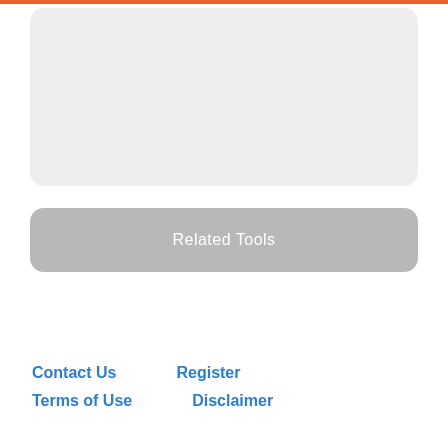[Figure (other): Light gray rounded rectangle card area, empty content placeholder]
Related Tools
Contact Us    Register
Terms of Use    Disclaimer